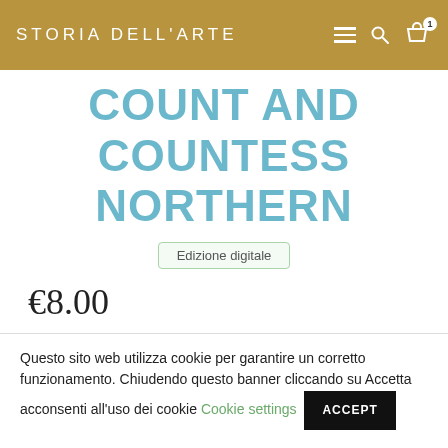STORIA DELL'ARTE
COUNT AND COUNTESS NORTHERN
Edizione digitale
€8.00
Questo sito web utilizza cookie per garantire un corretto funzionamento. Chiudendo questo banner cliccando su Accetta acconsenti all'uso dei cookie  Cookie settings  ACCEPT
Rifiuto  Scopri i dettagli